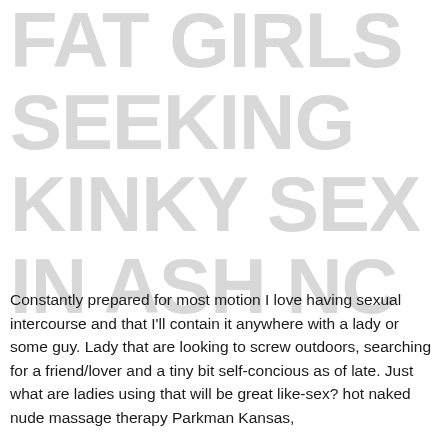FAT GIRLS SEEKING KINKY SEX IN ASH NC
Constantly prepared for most motion I love having sexual intercourse and that I'll contain it anywhere with a lady or some guy. Lady that are looking to screw outdoors, searching for a friend/lover and a tiny bit self-concious as of late. Just what are ladies using that will be great like-sex? hot naked nude massage therapy Parkman Kansas,